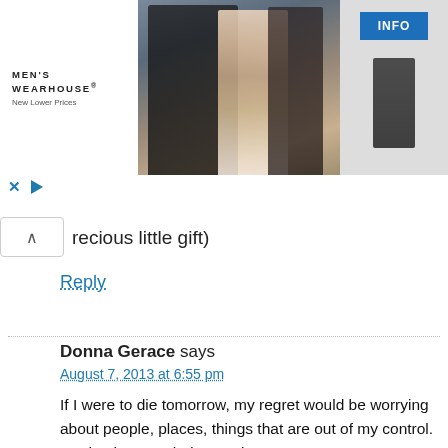[Figure (photo): Men's Wearhouse advertisement banner showing a couple in formal wear and a man in a suit, with INFO button]
recious little gift)
Reply
Donna Gerace says
August 7, 2013 at 6:55 pm
If I were to die tomorrow, my regret would be worrying about people, places, things that are out of my control. Not having traveled enough.